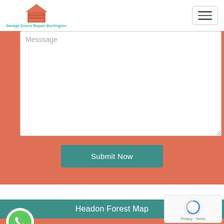[Figure (logo): Garage door repair company logo with orange house/garage icon and teal text reading Garage Doors Repair Burlington]
[Figure (screenshot): Hamburger menu button (three horizontal lines) in a rounded rectangle border]
[Figure (screenshot): Message textarea input field with placeholder text Messsage on salmon/orange background]
[Figure (screenshot): Submit Now button in teal on salmon background]
Headon Forest Map
[Figure (screenshot): Green circle phone icon (WhatsApp style call button)]
[Figure (screenshot): reCAPTCHA widget with Privacy and Terms text]